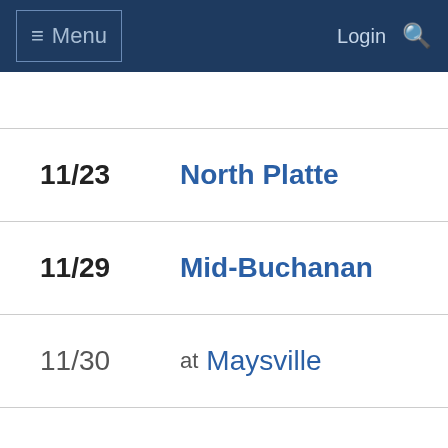Menu  Login
11/23  North Platte
11/29  Mid-Buchanan
11/30  at  Maysville